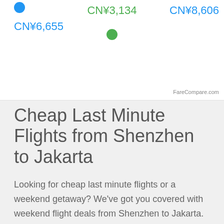[Figure (infographic): Partial scatter/bubble chart showing flight prices: CN¥6,655 (blue dot, left), CN¥3,134 (green dot, center), CN¥8,606 (blue, right). FareCompare.com watermark.]
Cheap Last Minute Flights from Shenzhen to Jakarta
Looking for cheap last minute flights or a weekend getaway? We've got you covered with weekend flight deals from Shenzhen to Jakarta. The chart below shows the best last minute deals and cheap flights this weekend we could find.